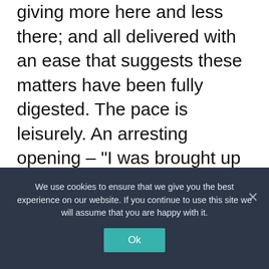giving more here and less there; and all delivered with an ease that suggests these matters have been fully digested. The pace is leisurely. An arresting opening – "I was brought up in a house of lies" – sets up expectations that are not realized: the main lie, his mother's illegitimacy, is developed as a theme, but serves no dramatic function.

Neither of his parents (each in their own way difficult) had any understanding of books as a way of life and a means of earning money. They ran a pub. Loving and admiring them,
We use cookies to ensure that we give you the best experience on our website. If you continue to use this site we will assume that you are happy with it.